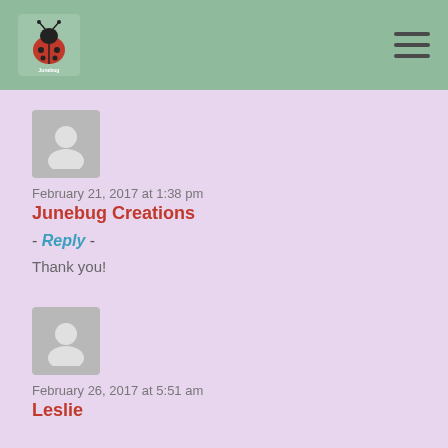[Figure (logo): Junebug Creations logo with ladybug illustration]
[Figure (illustration): Hamburger menu icon (three horizontal lines)]
February 21, 2017 at 1:38 pm
Junebug Creations
- Reply -
Thank you!
[Figure (illustration): Default user avatar placeholder (grey person silhouette)]
February 26, 2017 at 5:51 am
Leslie